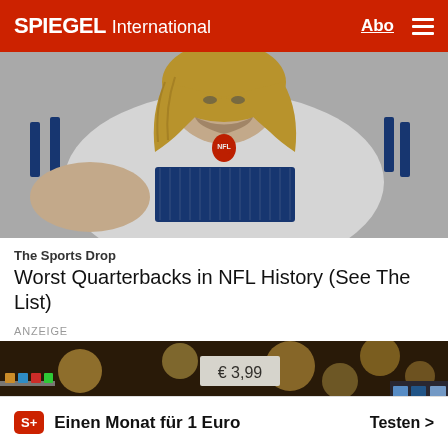SPIEGEL International   Abo
[Figure (photo): NFL player in white Indianapolis Colts jersey with blue stripes, long blonde hair, looking downward]
The Sports Drop
Worst Quarterbacks in NFL History (See The List)
ANZEIGE
[Figure (photo): Woman with long brown hair browsing shelves in a supermarket/grocery store with bokeh background lighting]
Einen Monat für 1 Euro   Testen >